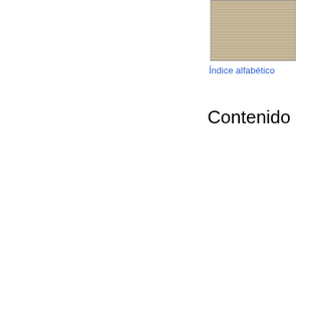[Figure (photo): Small thumbnail image of an old document or newspaper page]
Índice alfabético
Contenido
| Sm | 8 | Fir | 313 |
| No | 17 | Fla | 349 |
| Ma | 21 | La | 373 |
| So | 27 | Fre | 380 |
| Pe | 44 | 10 | 387 |
| Fe | 81 | 24 | 391 |
| wit | 89 | Gu | 393 |
| Sp | 97 | Mu | 413 |
| Du | 99 | Ha | 415 |
| Ma | 118 | Mu | 419 |